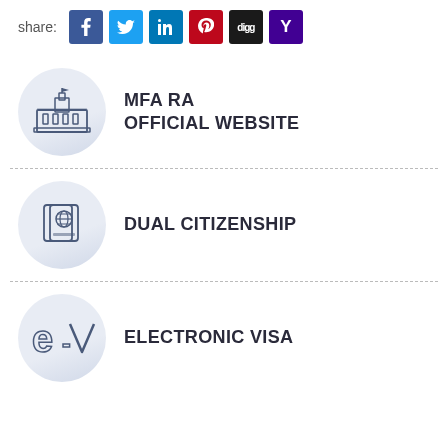share:
[Figure (infographic): Social share buttons: Facebook, Twitter, LinkedIn, Pinterest, Digg, Yahoo]
[Figure (infographic): MFA RA Official Website link with government building icon in a grey circle]
MFA RA OFFICIAL WEBSITE
[Figure (infographic): Dual Citizenship link with passport icon in a grey circle]
DUAL CITIZENSHIP
[Figure (infographic): Electronic Visa link with e-V logo in a grey circle]
ELECTRONIC VISA